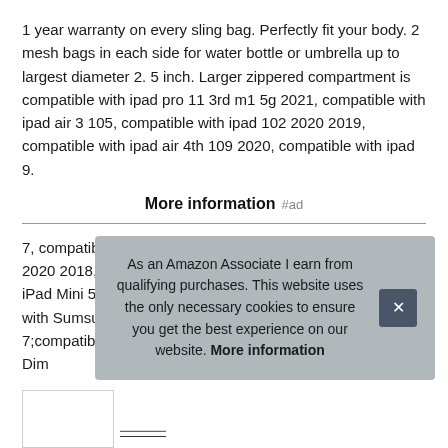1 year warranty on every sling bag. Perfectly fit your body. 2 mesh bags in each side for water bottle or umbrella up to largest diameter 2. 5 inch. Larger zippered compartment is compatible with ipad pro 11 3rd m1 5g 2021, compatible with ipad air 3 105, compatible with ipad 102 2020 2019, compatible with ipad air 4th 109 2020, compatible with ipad 9.
More information #ad
7, compatible with iPad Pro 105, compatible with ipad pro 11 2020 2018, compatible with ipad air 2/1, compatible with iPad Mini 5/4/3/2;compatible with Surface Go 2/1;compatible with Sumsung Galaxy Tab A 8.0/9. 7/101/105/ s2 8-9. 7;compatible with Dim
As an Amazon Associate I earn from qualifying purchases. This website uses the only necessary cookies to ensure you get the best experience on our website. More information